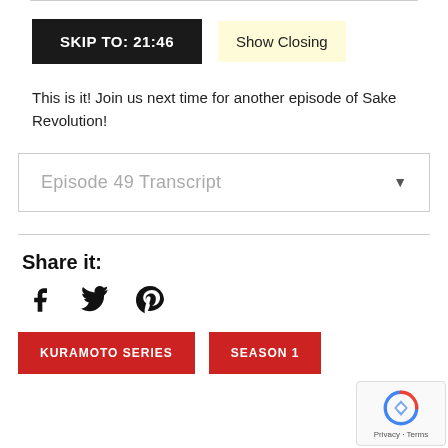[Figure (other): Skip to 21:46 button (black) and Show Closing button (light yellow)]
This is it! Join us next time for another episode of Sake Revolution!
Episode 49 Transcript
Share it:
[Figure (other): Social media icons: Facebook, Twitter, Pinterest]
[Figure (other): KURAMOTO SERIES and SEASON 1 red buttons at the bottom]